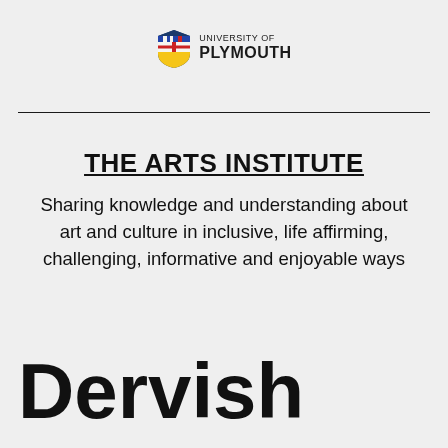[Figure (logo): University of Plymouth logo with shield crest and text]
THE ARTS INSTITUTE
Sharing knowledge and understanding about art and culture in inclusive, life affirming, challenging, informative and enjoyable ways
Dervish